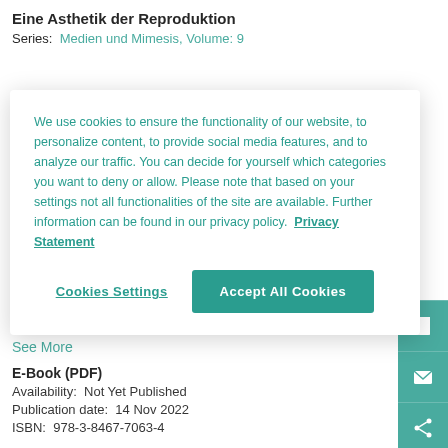Eine Asthetik der Reproduktion
Series: Medien und Mimesis, Volume: 9
We use cookies to ensure the functionality of our website, to personalize content, to provide social media features, and to analyze our traffic. You can decide for yourself which categories you want to deny or allow. Please note that based on your settings not all functionalities of the site are available. Further information can be found in our privacy policy. Privacy Statement
Cookies Settings
Accept All Cookies
Anleitung zu Roger Caillois' Untersuchungen mimetischer Insekten, deren Anähnlichung an die...
See More
E-Book (PDF)
Availability: Not Yet Published
Publication date: 14 Nov 2022
ISBN: 978-3-8467-7063-4